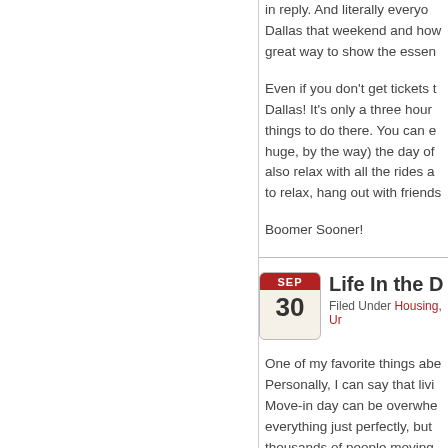in reply. And literally everyone... Dallas that weekend and how... great way to show the essen...
Even if you don't get tickets t... Dallas! It's only a three hour... things to do there. You can e... huge, by the way) the day of... also relax with all the rides a... to relax, hang out with friends:
Boomer Sooner!
[Figure (illustration): Calendar icon showing SEP 30]
Life In the D
Filed Under Housing, Ur...
One of my favorite things abe... Personally, I can say that livi... Move-in day can be overwhe... everything just perfectly, but... thousands of people moving... Especially since it was rainin...